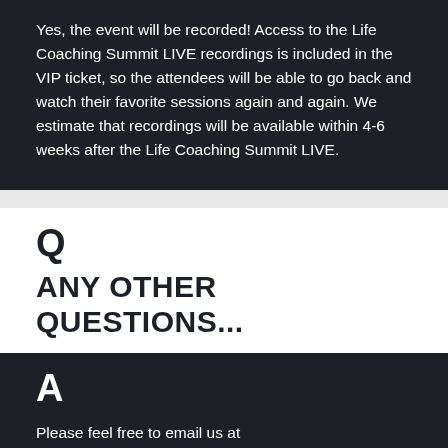Yes, the event will be recorded! Access to the Life Coaching Summit LIVE recordings is included in the VIP ticket, so the attendees will be able to go back and watch their favorite sessions again and again. We estimate that recordings will be available within 4-6 weeks after the Life Coaching Summit LIVE.
Q
ANY OTHER QUESTIONS...
A
Please feel free to email us at timetoact@thecoachinginsitute.com.au for a speedy reply.